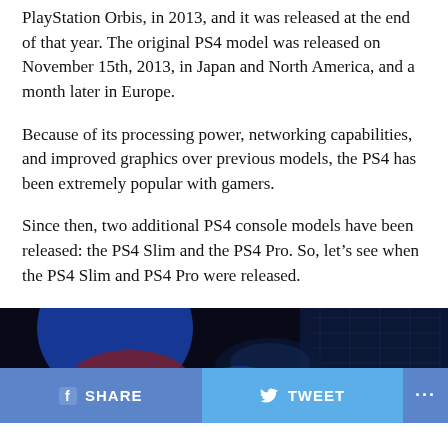PlayStation Orbis, in 2013, and it was released at the end of that year. The original PS4 model was released on November 15th, 2013, in Japan and North America, and a month later in Europe.
Because of its processing power, networking capabilities, and improved graphics over previous models, the PS4 has been extremely popular with gamers.
Since then, two additional PS4 console models have been released: the PS4 Slim and the PS4 Pro. So, let’s see when the PS4 Slim and PS4 Pro were released.
When was the PS4 Slim released?
[Figure (photo): Dark blue/black background image showing what appears to be a PS4 console with blue and red lighting elements]
SHARE   TWEET   ...